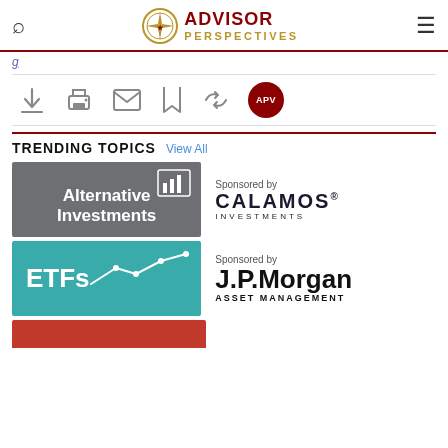Advisor Perspectives
TRENDING TOPICS  View All
[Figure (logo): Alternative Investments topic tile - gray background with bar chart icon and white text]
[Figure (logo): Sponsored by Calamos Investments logo]
[Figure (logo): ETFs topic tile - teal background with line chart icon and white text]
[Figure (logo): Sponsored by J.P. Morgan Asset Management logo]
[Figure (logo): Red topic tile partially visible at bottom]